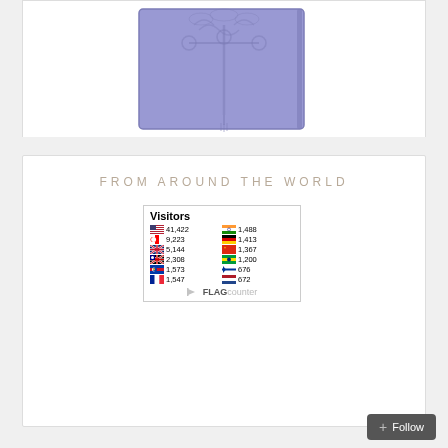[Figure (photo): Purple/lavender leather-bound notebook with decorative embossed design showing an ornate street lamp with clouds and swirls, with an elastic strap closure]
FROM AROUND THE WORLD
[Figure (infographic): Flag counter widget showing visitor statistics by country: US 41,422 | India 1,488 | Canada 9,223 | Germany 1,413 | UK 5,144 | China 1,367 | Australia 2,308 | Brazil 1,200 | Philippines 1,573 | Israel 676 | France 1,547 | Netherlands 672]
Follow